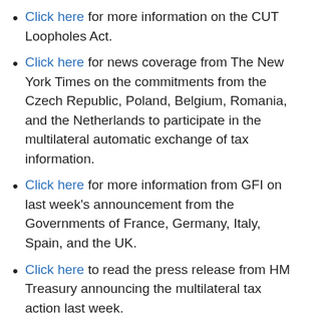Click here for more information on the CUT Loopholes Act.
Click here for news coverage from The New York Times on the commitments from the Czech Republic, Poland, Belgium, Romania, and the Netherlands to participate in the multilateral automatic exchange of tax information.
Click here for more information from GFI on last week’s announcement from the Governments of France, Germany, Italy, Spain, and the UK.
Click here to read the press release from HM Treasury announcing the multilateral tax action last week.